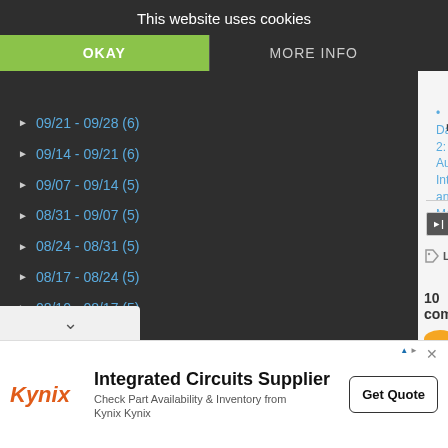This website uses cookies
OKAY
MORE INFO
09/21 - 09/28 (6)
09/14 - 09/21 (6)
09/07 - 09/14 (5)
08/31 - 09/07 (5)
08/24 - 08/31 (5)
08/17 - 08/24 (5)
08/10 - 08/17 (5)
08/03 - 08/10 (5)
07/27 - 08/03 (5)
07/20 - 07/27 (5)
13 - 07/20 (5)
Related articles
Day 2: Author Interactions and More Th...
reads.com)
Labels: Armchair BEA
10 comments:
[Figure (screenshot): Social share icons row: person icon, email forward, Gmail, Blogger, Twitter, Facebook, Pinterest]
Integrated Circuits Supplier
Check Part Availability & Inventory from Kynix Kynix
Get Quote